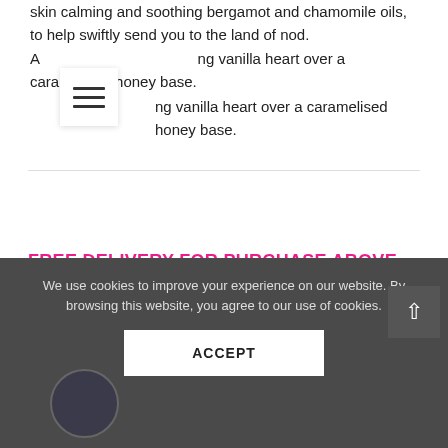skin calming and soothing bergamot and chamomile oils, to help swiftly send you to the land of nod.
A warming vanilla heart over a caramelised honey base.
[Figure (infographic): Hamburger menu icon (three horizontal lines) in a white square card with shadow]
FREE DELIVERY FOR PURCHASE ABOVE 200 AED
[Figure (infographic): Quantity selector UI: pill-shaped outlined button with minus on left, '1' in center, plus on right]
[Figure (infographic): Pink rounded ADD TO CART button]
We use cookies to improve your experience on our website. By browsing this website, you agree to our use of cookies.
ACCEPT